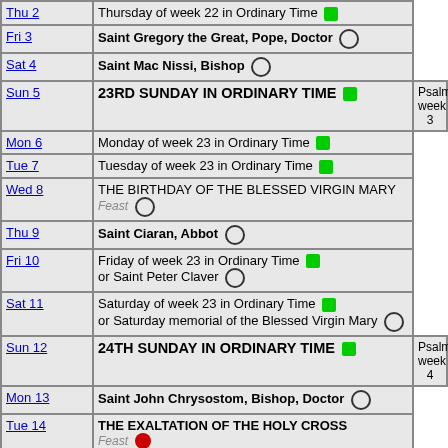| Day | Description | Note |
| --- | --- | --- |
| Thu 2 | Thursday of week 22 in Ordinary Time [green] |  |
| Fri 3 | Saint Gregory the Great, Pope, Doctor [circle] |  |
| Sat 4 | Saint Mac Nissi, Bishop [circle] |  |
| Sun 5 | 23RD SUNDAY IN ORDINARY TIME [green] | Psalm week 3 |
| Mon 6 | Monday of week 23 in Ordinary Time [green] |  |
| Tue 7 | Tuesday of week 23 in Ordinary Time [green] |  |
| Wed 8 | THE BIRTHDAY OF THE BLESSED VIRGIN MARY Feast [circle] |  |
| Thu 9 | Saint Ciaran, Abbot [circle] |  |
| Fri 10 | Friday of week 23 in Ordinary Time [green] or Saint Peter Claver [circle] |  |
| Sat 11 | Saturday of week 23 in Ordinary Time [green] or Saturday memorial of the Blessed Virgin Mary [circle] |  |
| Sun 12 | 24TH SUNDAY IN ORDINARY TIME [green] | Psalm week 4 |
| Mon 13 | Saint John Chrysostom, Bishop, Doctor [circle] |  |
| Tue 14 | THE EXALTATION OF THE HOLY CROSS Feast [red circle] |  |
| Wed 15 | Our Lady of Sorrows [circle] |  |